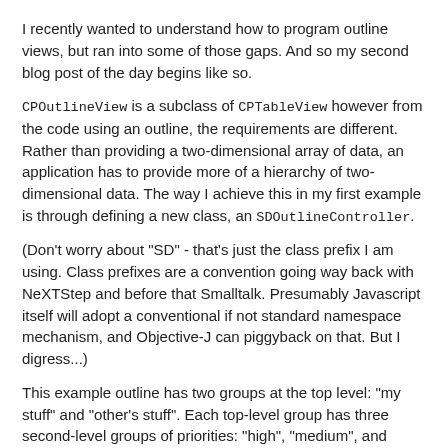I recently wanted to understand how to program outline views, but ran into some of those gaps. And so my second blog post of the day begins like so.
CPOutlineView is a subclass of CPTableView however from the code using an outline, the requirements are different. Rather than providing a two-dimensional array of data, an application has to provide more of a hierarchy of two-dimensional data. The way I achieve this in my first example is through defining a new class, an SDOutlineController.
(Don't worry about "SD" - that's just the class prefix I am using. Class prefixes are a convention going way back with NeXTStep and before that Smalltalk. Presumably Javascript itself will adopt a conventional if not standard namespace mechanism, and Objective-J can piggyback on that. But I digress...)
This example outline has two groups at the top level: "my stuff" and "other's stuff". Each top-level group has three second-level groups of priorities: "high", "medium", and "low". The third level of the outline are the lists of stuff, the nodes. The groups are of a type we can refer to...